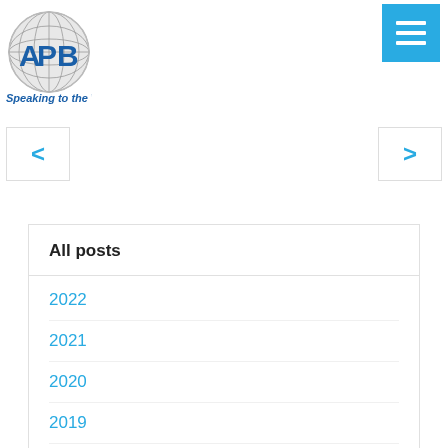APB Speaking to the World
[Figure (logo): APB globe logo with blue letters APB and tagline 'Speaking to the World']
[Figure (screenshot): Blue hamburger menu button with three white horizontal bars]
[Figure (screenshot): Left navigation arrow button (chevron <)]
[Figure (screenshot): Right navigation arrow button (chevron >)]
All posts
2022
2021
2020
2019
2018